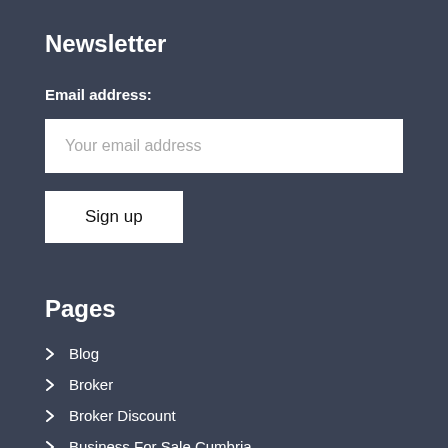Newsletter
Email address:
Your email address
Sign up
Pages
Blog
Broker
Broker Discount
Business For Sale Cumbria
Business For Sale Leicestershire